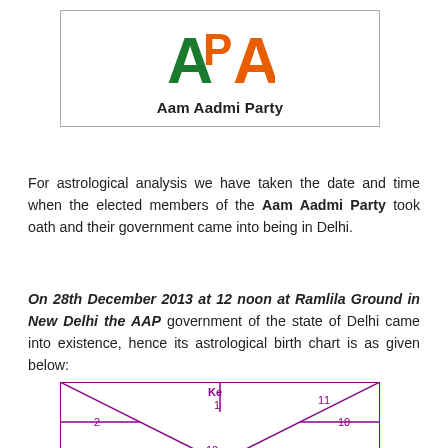[Figure (logo): AAP (Aam Aadmi Party) logo with orange and green letters and text 'Aam Aadmi Party' below]
For astrological analysis we have taken the date and time when the elected members of the Aam Aadmi Party took oath and their government came into being in Delhi.
On 28th December 2013 at 12 noon at Ramlila Ground in New Delhi the AAP government of the state of Delhi came into existence, hence its astrological birth chart is as given below:
[Figure (other): Partial astrological birth chart (Vedic/North Indian style) showing house numbers: Ke, 1, 2, 10, 11, 12 visible]